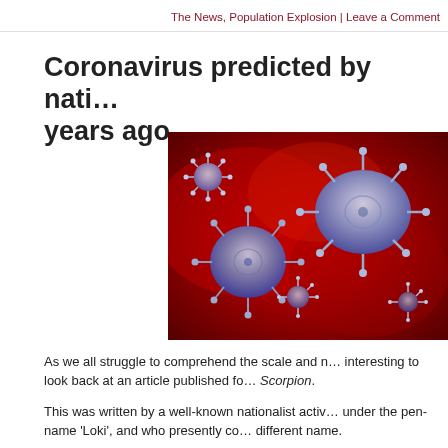The News, Population Explosion | Leave a Comment
Coronavirus predicted by nati… years ago
[Figure (photo): Close-up microscopic image of coronavirus particles, shown in blue/purple against a red background]
As we all struggle to comprehend the scale and m… interesting to look back at an article published fo… Scorpion.
This was written by a well-known nationalist activ… under the pen-name 'Loki', and who presently co… different name.